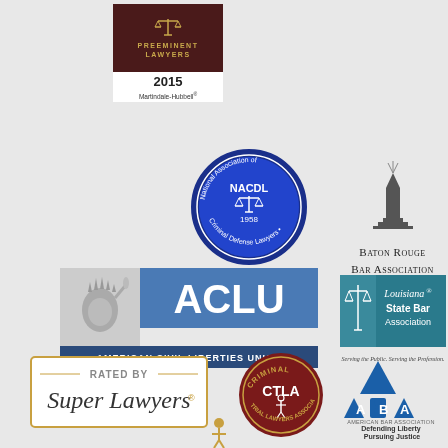[Figure (logo): Preeminent Lawyers 2015 Martindale-Hubbell badge with scales of justice on dark maroon background]
[Figure (logo): NACDL National Association of Criminal Defense Lawyers circular blue seal with scales, founded 1958]
[Figure (logo): Baton Rouge Bar Association logo with lighthouse tower graphic]
[Figure (logo): ACLU American Civil Liberties Union logo with Statue of Liberty and blue banner]
[Figure (logo): Louisiana State Bar Association logo with scales of justice, tagline: Serving the Public. Serving the Profession.]
[Figure (logo): Rated by Super Lawyers badge in gold border]
[Figure (logo): CTLA Criminal Trial Lawyers Association circular dark red seal]
[Figure (logo): ABA American Bar Association logo, Defending Liberty Pursuing Justice]
[Figure (logo): Partial figure of running person at bottom of page]